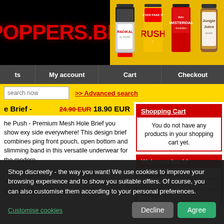[Figure (screenshot): POPPERS.BE website logo on black background with red text]
[Figure (photo): Four product bottles: Radikal by Rush, Rush, Amsterdam Revolution, Jungle Juice]
ts  My account  Cart  Checkout
search now  >> Advanced search
e Brief -  24.90 EUR 18.90 EUR
he Push - Premium Mesh Hole Brief you show exy side everywhere! This design brief combines ping front pouch, open bottom and slimming band in this versatile underwear for the modern
naped front pouch automatically puts everything best position. The high quality premium mesh
Shopping Cart
You do not have any products in your shopping cart yet.
Welcome back!
eMail-address:
Password:
Shop discreetly - the way you want! We use cookies to improve your browsing experience and to show you suitable offers. Of course, you can also customise them according to your personal preferences.
Customise cookies
Decline  Agree